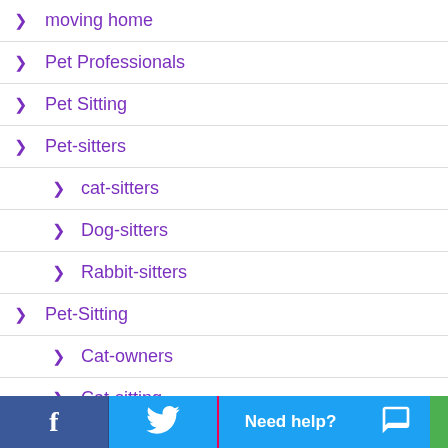> moving home
> Pet Professionals
> Pet Sitting
> Pet-sitters
> cat-sitters
> Dog-sitters
> Rabbit-sitters
> Pet-Sitting
> Cat-owners
> Cat-sitting
f  [twitter]  Need help?  [chat icon]